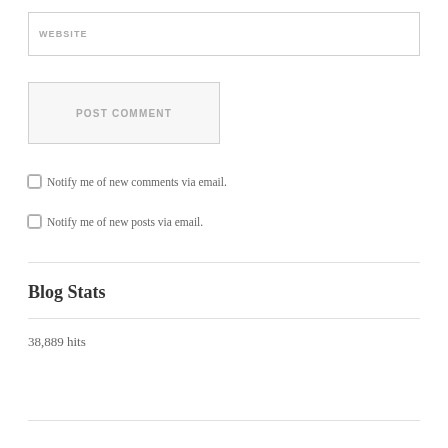WEBSITE
POST COMMENT
Notify me of new comments via email.
Notify me of new posts via email.
Blog Stats
38,889 hits